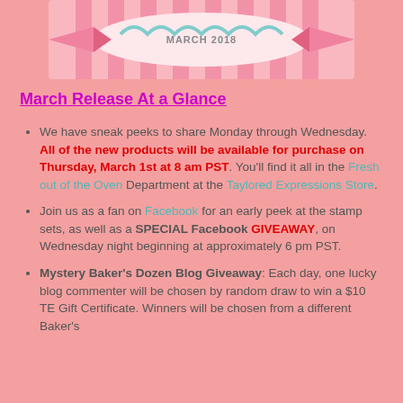[Figure (illustration): Decorative banner graphic with pink and teal stripes, ribbons, and text reading 'March 2018' or similar release title]
March Release At a Glance
We have sneak peeks to share Monday through Wednesday. All of the new products will be available for purchase on Thursday, March 1st at 8 am PST. You'll find it all in the Fresh out of the Oven Department at the Taylored Expressions Store.
Join us as a fan on Facebook for an early peek at the stamp sets, as well as a SPECIAL Facebook GIVEAWAY, on Wednesday night beginning at approximately 6 pm PST.
Mystery Baker's Dozen Blog Giveaway: Each day, one lucky blog commenter will be chosen by random draw to win a $10 TE Gift Certificate. Winners will be chosen from a different Baker's